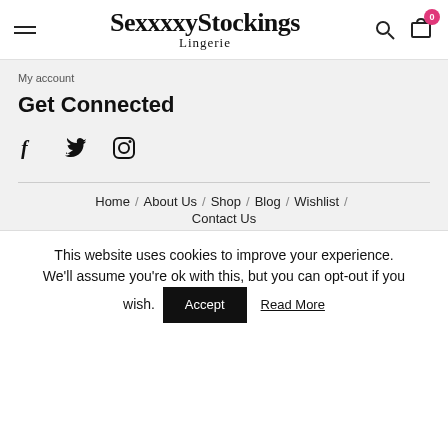SexxxxyStockings Lingerie
My account
Get Connected
[Figure (other): Social media icons: Facebook (f), Twitter (bird), Instagram (camera)]
Home / About Us / Shop / Blog / Wishlist / Contact Us
This website uses cookies to improve your experience. We'll assume you're ok with this, but you can opt-out if you wish.